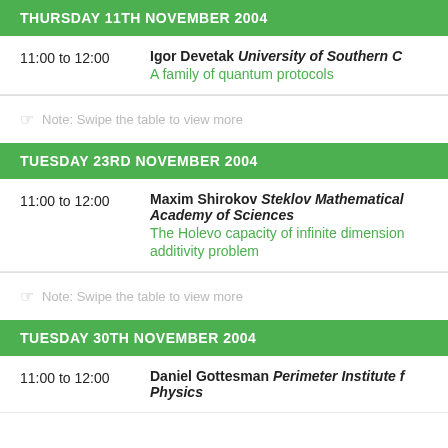THURSDAY 11TH NOVEMBER 2004
| Time | Speaker / Talk |
| --- | --- |
| 11:00 to 12:00 | Igor Devetak University of Southern C
A family of quantum protocols |
Note: Swipe the table to view more
TUESDAY 23RD NOVEMBER 2004
| Time | Speaker / Talk |
| --- | --- |
| 11:00 to 12:00 | Maxim Shirokov Steklov Mathematical Academy of Sciences
The Holevo capacity of infinite dimension additivity problem |
Note: Swipe the table to view more
TUESDAY 30TH NOVEMBER 2004
| Time | Speaker / Talk |
| --- | --- |
| 11:00 to 12:00 | Daniel Gottesman Perimeter Institute Physics |